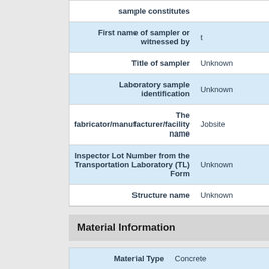| Field | Value |
| --- | --- |
| sample constitutes |  |
| First name of sampler or witnessed by | t |
| Title of sampler | Unknown |
| Laboratory sample identification | Unknown |
| The fabricator/manufacturer/facility name | Jobsite |
| Inspector Lot Number from the Transportation Laboratory (TL) Form | Unknown |
| Structure name | Unknown |
Material Information
| Field | Value |
| --- | --- |
| Material Type | Concrete |